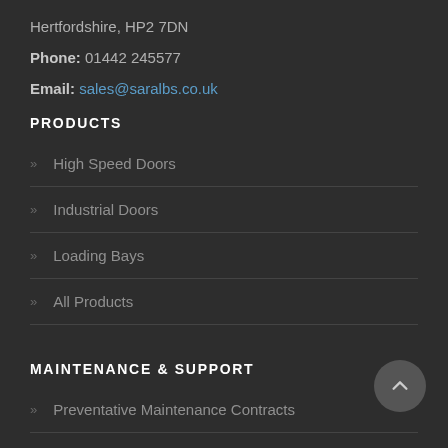Hertfordshire, HP2 7DN
Phone: 01442 245577
Email: sales@saralbs.co.uk
PRODUCTS
High Speed Doors
Industrial Doors
Loading Bays
All Products
MAINTENANCE & SUPPORT
Preventative Maintenance Contracts